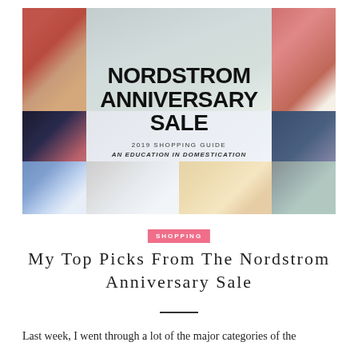[Figure (illustration): Nordstrom Anniversary Sale 2019 Shopping Guide banner. A collage of fashion model photos surrounds large bold text reading 'NORDSTROM ANNIVERSARY SALE' with subtitle '2019 SHOPPING GUIDE' and italic text 'AN EDUCATION IN DOMESTICATION'.]
SHOPPING
My Top Picks From The Nordstrom Anniversary Sale
Last week, I went through a lot of the major categories of the